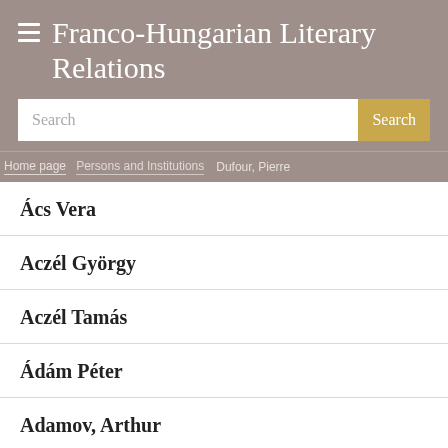Franco-Hungarian Literary Relations
Search
Home page | Persons and Institutions | Dufour, Pierre
Ács Vera
Aczél György
Aczél Tamás
Ádám Péter
Adamov, Arthur